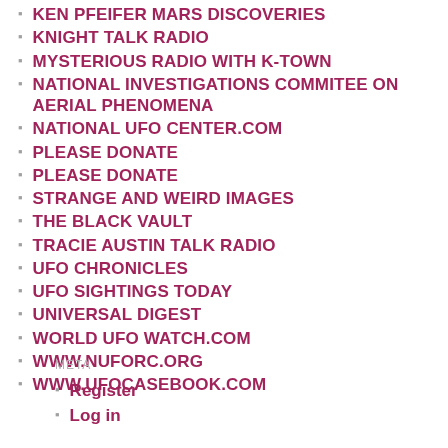KEN PFEIFER MARS DISCOVERIES
KNIGHT TALK RADIO
MYSTERIOUS RADIO WITH K-TOWN
NATIONAL INVESTIGATIONS COMMITEE ON AERIAL PHENOMENA
NATIONAL UFO CENTER.COM
PLEASE DONATE
PLEASE DONATE
STRANGE AND WEIRD IMAGES
THE BLACK VAULT
TRACIE AUSTIN TALK RADIO
UFO CHRONICLES
UFO SIGHTINGS TODAY
UNIVERSAL DIGEST
WORLD UFO WATCH.COM
WWW.NUFORC.ORG
WWW.UFOCASEBOOK.COM
META
Register
Log in